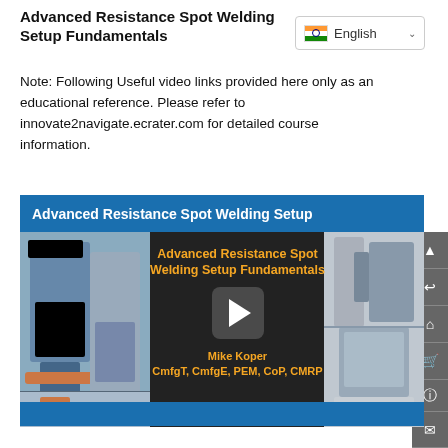Advanced Resistance Spot Welding Setup Fundamentals
[Figure (screenshot): Language selector dropdown showing Indian flag and 'English' text with dropdown arrow]
Note: Following Useful video links provided here only as an educational reference. Please refer to innovate2navigate.ecrater.com for detailed course information.
[Figure (screenshot): Video thumbnail for 'Advanced Resistance Spot Welding Setup Fundamentals' by Mike Koper, CmfgT, CmfgE, PEM, CoP, CMRP — showing welding machines on left and right, orange title text in center, play button, and author name. Blue header bar reads 'Advanced Resistance Spot Welding Setup']